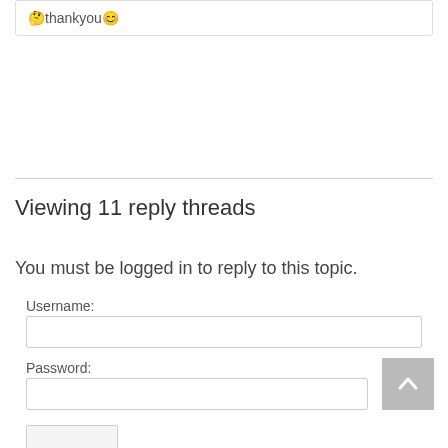🤔thankyou😊
Viewing 11 reply threads
You must be logged in to reply to this topic.
Username:
Password: